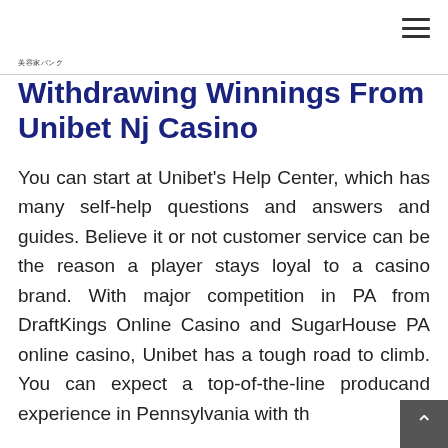美容家バンク
Withdrawing Winnings From Unibet Nj Casino
You can start at Unibet's Help Center, which has many self-help questions and answers and guides. Believe it or not customer service can be the reason a player stays loyal to a casino brand. With major competition in PA from DraftKings Online Casino and SugarHouse PA online casino, Unibet has a tough road to climb. You can expect a top-of-the-line product and experience in Pennsylvania with th